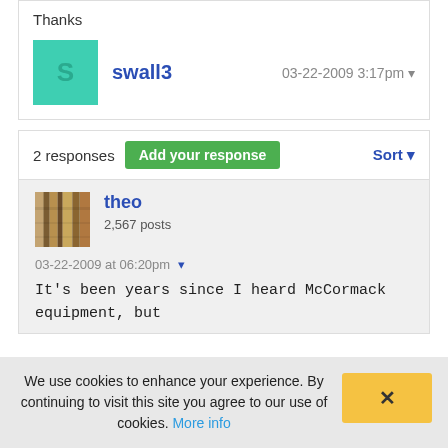Thanks
swall3   03-22-2009 3:17pm
2 responses
Add your response
Sort
theo
2,567 posts
03-22-2009 at 06:20pm
It's been years since I heard McCormack equipment, but
We use cookies to enhance your experience. By continuing to visit this site you agree to our use of cookies. More info